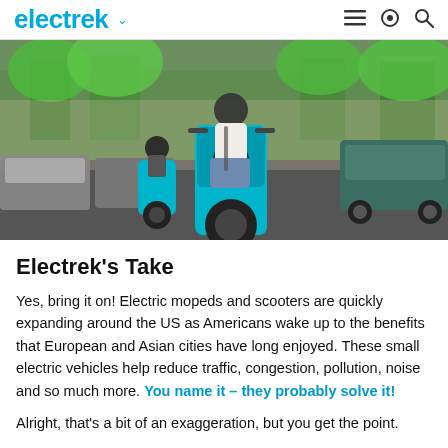electrek
[Figure (photo): Two riders on electric mopeds/scooters (teal colored) riding through an urban street with parked and moving cars and green trees in background. The foreground rider is male wearing a white shirt, jeans, and helmet, on a large teal scooter. The background rider is female wearing a helmet also on a teal scooter.]
Electrek's Take
Yes, bring it on! Electric mopeds and scooters are quickly expanding around the US as Americans wake up to the benefits that European and Asian cities have long enjoyed. These small electric vehicles help reduce traffic, congestion, pollution, noise and so much more. You name it – they probably solve it!
Alright, that's a bit of an exaggeration, but you get the point.